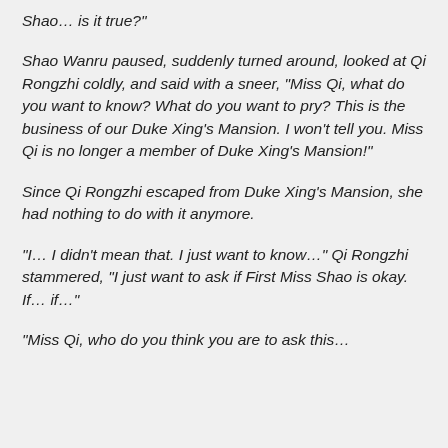"I heard that something happened to the First Miss Shao… is it true?"
Shao Wanru paused, suddenly turned around, looked at Qi Rongzhi coldly, and said with a sneer, "Miss Qi, what do you want to know? What do you want to pry? This is the business of our Duke Xing's Mansion. I won't tell you. Miss Qi is no longer a member of Duke Xing's Mansion!"
Since Qi Rongzhi escaped from Duke Xing's Mansion, she had nothing to do with it anymore.
"I… I didn't mean that. I just want to know…" Qi Rongzhi stammered, "I just want to ask if First Miss Shao is okay. If… if…"
"Miss Qi, who do you think you are to ask this…